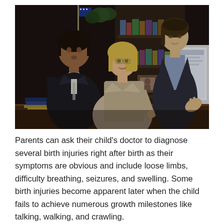[Figure (photo): Three professional women in business attire in a law office setting. A Black woman in a dark suit stands on the left, a blonde woman in glasses and a beige blazer sits at the desk pointing a finger, and a third woman in a dark blazer stands behind looking at a computer monitor. Bookshelves with books are visible in the background.]
Parents can ask their child's doctor to diagnose several birth injuries right after birth as their symptoms are obvious and include loose limbs, difficulty breathing, seizures, and swelling. Some birth injuries become apparent later when the child fails to achieve numerous growth milestones like talking, walking, and crawling.